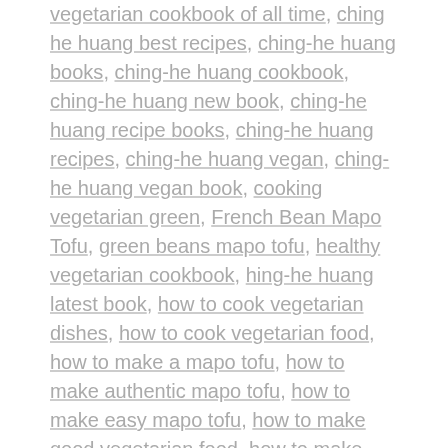vegetarian cookbook of all time, ching he huang best recipes, ching-he huang books, ching-he huang cookbook, ching-he huang new book, ching-he huang recipe books, ching-he huang recipes, ching-he huang vegan, ching-he huang vegan book, cooking vegetarian green, French Bean Mapo Tofu, green beans mapo tofu, healthy vegetarian cookbook, hing-he huang latest book, how to cook vegetarian dishes, how to cook vegetarian food, how to make a mapo tofu, how to make authentic mapo tofu, how to make easy mapo tofu, how to make good vegetarian food, how to make mapo tofu from scratch, Mapo Tofu, mapo tofu authentic, mapo tofu chinese, mapo tofu easy, mapo tofu green beans, mapo tofu healthy, mapo tofu healthy recipe, mapo tofu how to make, mapo tofu ingredients, mapo tofu recipe, mapo tofu recipe japanese, mapo tofu recipe korean, mapo tofu recipe vegetarian, mapo tofu vegetarian, Spicy Chilli French Bean Mapo Tofu, vegetarian and vegan, vegetarian asian recipes, vegetarian chinese cookbook, vegetarian cookbook best, vegetarian cookbook easy recipes, vegetarian cookbook healthy, vegetarian cookbook quick, vegetarian cookbook simple,